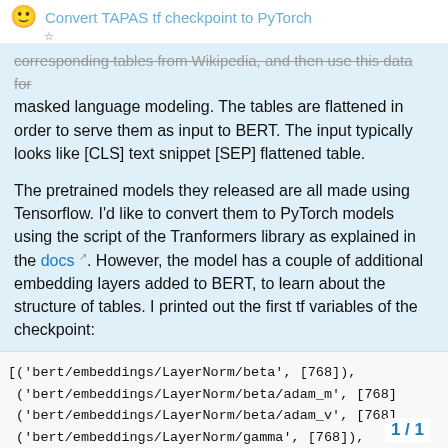Convert TAPAS tf checkpoint to PyTorch
corresponding tables from Wikipedia, and then use this data for masked language modeling. The tables are flattened in order to serve them as input to BERT. The input typically looks like [CLS] text snippet [SEP] flattened table.
The pretrained models they released are all made using Tensorflow. I'd like to convert them to PyTorch models using the script of the Tranformers library as explained in the docs. However, the model has a couple of additional embedding layers added to BERT, to learn about the structure of tables. I printed out the first tf variables of the checkpoint:
[('bert/embeddings/LayerNorm/beta', [768]),
 ('bert/embeddings/LayerNorm/beta/adam_m', [768]
 ('bert/embeddings/LayerNorm/beta/adam_v', [768]
 ('bert/embeddings/LayerNorm/gamma', [768]),
 ('bert/embeddings/LayerNorm/gamma/adam_m', [768
 ('bert/embeddings/LayerNorm/gamma/adam_v', [76
 ('bert/embeddings/position_emb
 ('bert/embeddings/position_emb
1 / 1